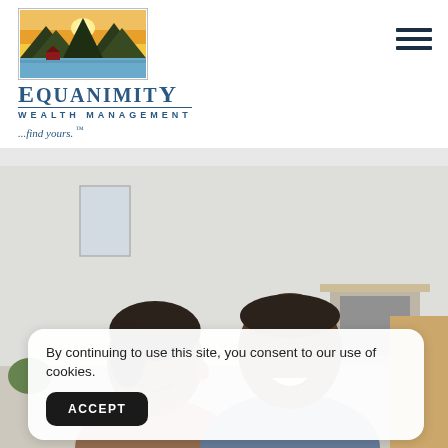[Figure (logo): Equanimity Wealth Management logo with landscape painting (mountains, water, sunset) and company name]
[Figure (illustration): Hamburger menu icon (three horizontal dark bars)]
[Figure (photo): A smiling Black couple looking at something together in a bright home interior]
By continuing to use this site, you consent to our use of cookies.
ACCEPT